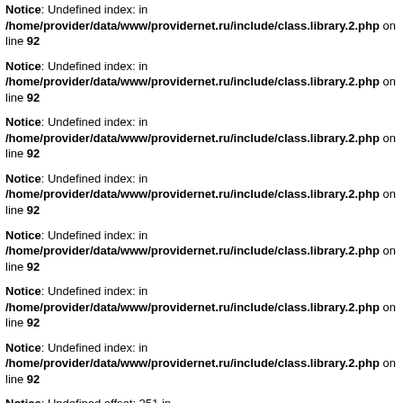Notice: Undefined index: in /home/provider/data/www/providernet.ru/include/class.library.2.php on line 92
Notice: Undefined index: in /home/provider/data/www/providernet.ru/include/class.library.2.php on line 92
Notice: Undefined index: in /home/provider/data/www/providernet.ru/include/class.library.2.php on line 92
Notice: Undefined index: in /home/provider/data/www/providernet.ru/include/class.library.2.php on line 92
Notice: Undefined index: in /home/provider/data/www/providernet.ru/include/class.library.2.php on line 92
Notice: Undefined index: in /home/provider/data/www/providernet.ru/include/class.library.2.php on line 92
Notice: Undefined index: in /home/provider/data/www/providernet.ru/include/class.library.2.php on line 92
Notice: Undefined offset: 251 in /home/provider/data/www/providernet.ru/include/class.library.2.php on line 92